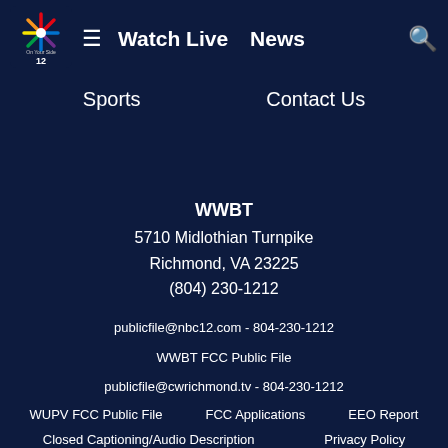NBC 12 On Your Side | Watch Live | News | Sports | Contact Us | Search
WWBT
5710 Midlothian Turnpike
Richmond, VA 23225
(804) 230-1212
publicfile@nbc12.com - 804-230-1212
WWBT FCC Public File
publicfile@cwrichmond.tv - 804-230-1212
WUPV FCC Public File   FCC Applications   EEO Report
Closed Captioning/Audio Description   Privacy Policy
Terms of Use   Advertising